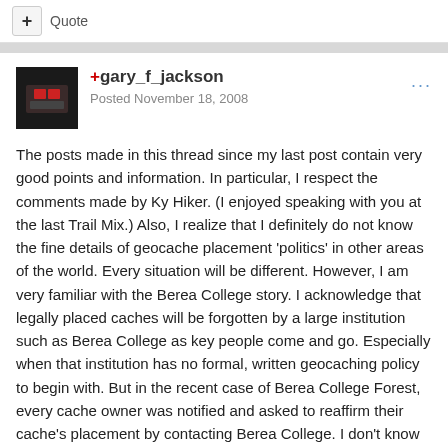+ Quote
+gary_f_jackson
Posted November 18, 2008
The posts made in this thread since my last post contain very good points and information. In particular, I respect the comments made by Ky Hiker. (I enjoyed speaking with you at the last Trail Mix.) Also, I realize that I definitely do not know the fine details of geocache placement 'politics' in other areas of the world. Every situation will be different. However, I am very familiar with the Berea College story. I acknowledge that legally placed caches will be forgotten by a large institution such as Berea College as key people come and go. Especially when that institution has no formal, written geocaching policy to begin with. But in the recent case of Berea College Forest, every cache owner was notified and asked to reaffirm their cache's placement by contacting Berea College. I don't know what else the manager at Berea College could do. His request was an attempt to reach out to the geocaching community for their cooperation. Nobody responded. Ergo, nobody cares. It doesn't get much more straightforward than that. Should Cav Scout have lied about other